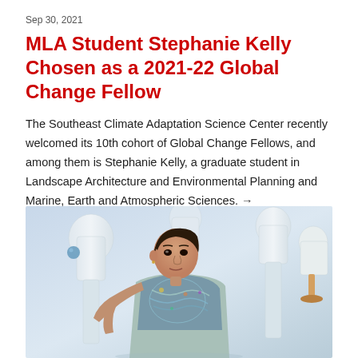Sep 30, 2021
MLA Student Stephanie Kelly Chosen as a 2021-22 Global Change Fellow
The Southeast Climate Adaptation Science Center recently welcomed its 10th cohort of Global Change Fellows, and among them is Stephanie Kelly, a graduate student in Landscape Architecture and Environmental Planning and Marine, Earth and Atmospheric Sciences. →
[Figure (photo): Photo of Stephanie Kelly, a young woman leaning against a white mannequin form, surrounded by other white mannequin forms against a light blue background, wearing a colorful patterned top]